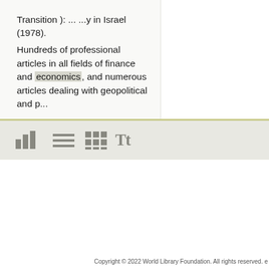Transition ): ... ...y in Israel (1978). Hundreds of professional articles in all fields of finance and economics, and numerous articles dealing with geopolitical and p...
[Figure (screenshot): Toolbar strip with four icons: bar chart icon, list/lines icon, grid icon, and Tt (text/font) icon, on a light olive-grey background with a yellow-green top border]
Copyright © 2022 World Library Foundation. All rights reserved. e